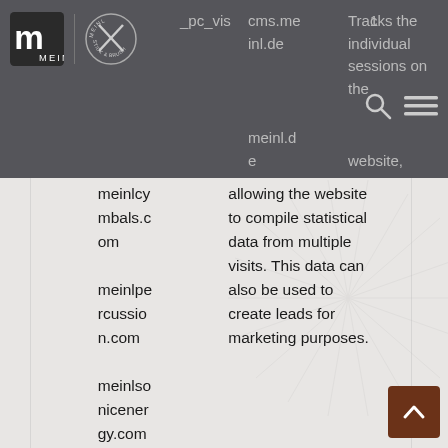[Figure (screenshot): Meinl website navigation bar with Meinl logo and Meinl Stick & Brush logo on dark grey background, with search and menu icons]
|  | cms.me inl.de meinl.d e meinlcy mbals.c om meinlpe rcussio n.com meinlso nicener gy.com meinlsti ckandbr ush.co | Tracks the individual sessions on the website, allowing the website to compile statistical data from multiple visits. This data can also be used to create leads for marketing purposes. | 1 |
| --- | --- | --- | --- |
| _pc_vis | cms.meinl.de
meinl.de
meinlcymbals.com
meinlpercussion.com
meinlsonicenergy.com
meinlstickandbrush.co | Tracks the individual sessions on the website, allowing the website to compile statistical data from multiple visits. This data can also be used to create leads for marketing purposes. | 1 |